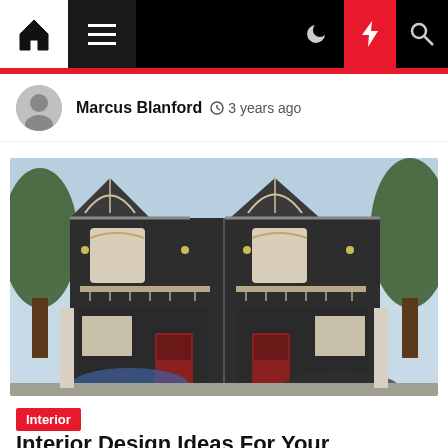Navigation bar with home, menu, dark mode, lightning, and search icons
Marcus Blanford  3 years ago
[Figure (photo): Front exterior view of a two-story duplex house with Victorian-style decorative gable elements, arched windows, balconies with wrought iron railings, dark exterior walls, and parked vehicles in the foreground. Trees visible on both sides.]
Interior
Interior Design Ideas For Your